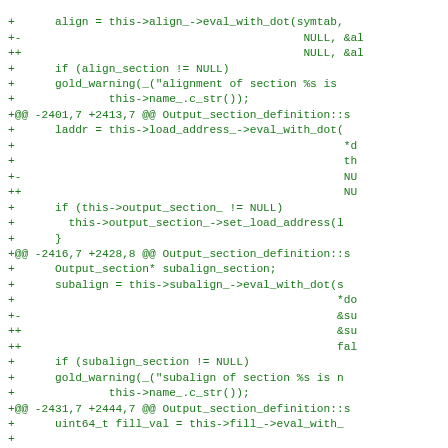diff --git code block showing changes to Output_section_definition including align, laddr, subalign, fill_val modifications